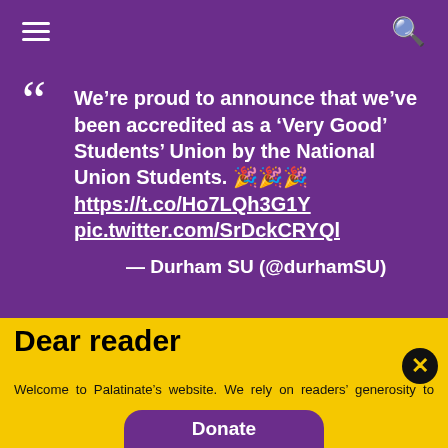Navigation bar with hamburger menu and search icon
We’re proud to announce that we’ve been accredited as a ‘Very Good’ Students’ Union by the National Union Students. 🎉🎉🎉 https://t.co/Ho7LQh3G1Y pic.twitter.com/SrDckCRYQl — Durham SU (@durhamSU)
Dear reader
Welcome to Palatinate’s website. We rely on readers’ generosity to keep producing award-winning journalism and provide media training opportunities to our team of more than 150 students. Palatinate has produced some of the biggest names in British media, from Jeremy Vine to the late great Sir Harold Evans. Every contribution to Palatinate is an investment into the future of journalism.
Donate